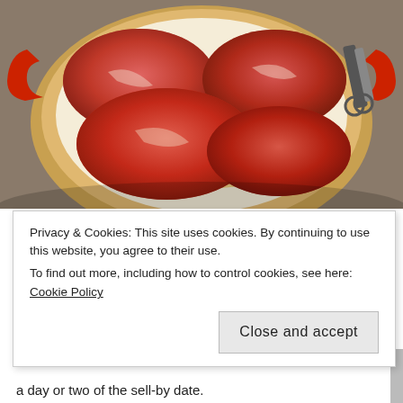[Figure (photo): Raw pork shoulder cuts in a red-handled round Dutch oven or braising pot, viewed from above. The meat is seasoned and sitting in oil/butter. Scissors visible at upper right corner.]
Pork Shoulders by John Verive
DIET AND EXERCISE / NUTRITION
Refrigerate or freeze raw meat
Privacy & Cookies: This site uses cookies. By continuing to use this website, you agree to their use.
To find out more, including how to control cookies, see here: Cookie Policy
Close and accept
a day or two of the sell-by date.